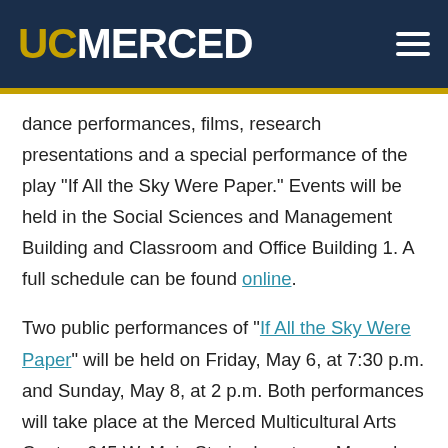UC MERCED
dance performances, films, research presentations and a special performance of the play "If All the Sky Were Paper." Events will be held in the Social Sciences and Management Building and Classroom and Office Building 1. A full schedule can be found online.

Two public performances of "If All the Sky Were Paper" will be held on Friday, May 6, at 7:30 p.m. and Sunday, May 8, at 2 p.m. Both performances will take place at the Merced Multicultural Arts Center, 645 W. Main St., in downtown Merced. Written by